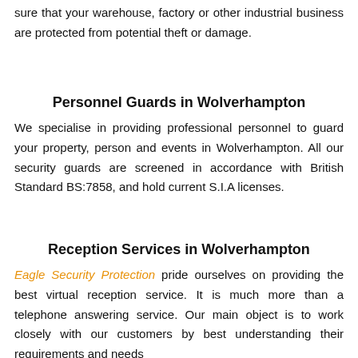sure that your warehouse, factory or other industrial business are protected from potential theft or damage.
Personnel Guards in Wolverhampton
We specialise in providing professional personnel to guard your property, person and events in Wolverhampton. All our security guards are screened in accordance with British Standard BS:7858, and hold current S.I.A licenses.
Reception Services in Wolverhampton
Eagle Security Protection pride ourselves on providing the best virtual reception service. It is much more than a telephone answering service. Our main object is to work closely with our customers by best understanding their requirements and needs